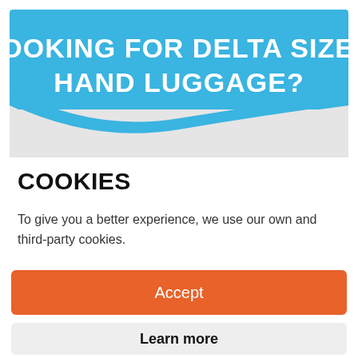[Figure (illustration): Blue banner with white text reading LOOKING FOR DELTA SIZED HAND LUGGAGE? with a wave/chevron cutout at the bottom revealing a light grey background]
COOKIES
To give you a better experience, we use our own and third-party cookies.
Accept
Learn more